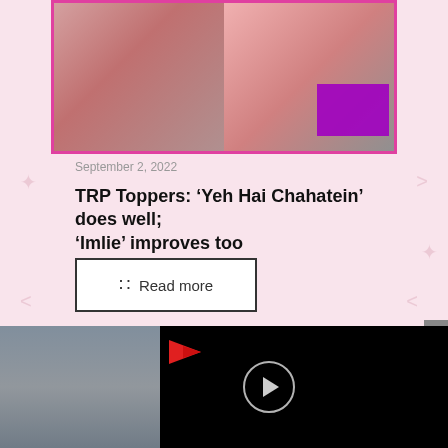[Figure (photo): Collage of TV show characters with pink/magenta border, showing two scenes side by side with a purple overlay box in the lower right corner]
September 2, 2022
TRP Toppers: ‘Yeh Hai Chahatein’ does well; ‘Imlie’ improves too
Read more
[Figure (screenshot): Video player with black background, partial outdoor scene on the left, red arrow brand logo, and a circular play button in the center]